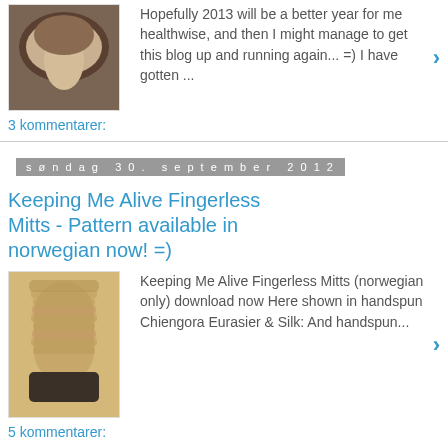Hopefully 2013 will be a better year for me healthwise, and then I might manage to get this blog up and running again... =) I have gotten ...
3 kommentarer:
søndag 30. september 2012
Keeping Me Alive Fingerless Mitts - Pattern available in norwegian now! =)
Keeping Me Alive Fingerless Mitts (norwegian only) download now Here shown in handspun Chiengora Eurasier & Silk: And handspun...
5 kommentarer:
søndag 12. februar 2012
Keeping Me Alive...